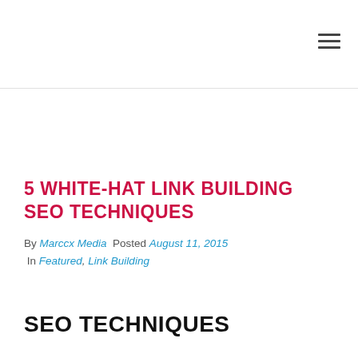5 WHITE-HAT LINK BUILDING SEO TECHNIQUES
By Marccx Media  Posted August 11, 2015  In Featured, Link Building
SEO TECHNIQUES